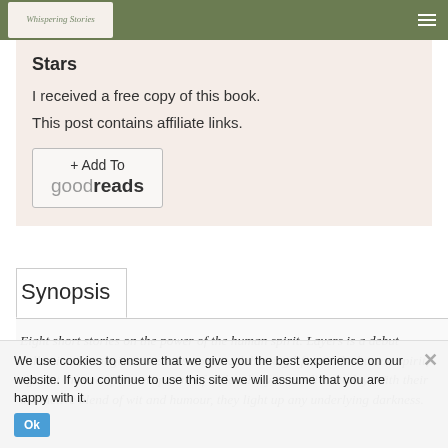Whispering Stories
Stars
I received a free copy of this book.
This post contains affiliate links.
[Figure (logo): Add To Goodreads button]
Synopsis
Eight short stories on the power of the human spirit. Layers is a debut collection of imaginative short stories celebrating life and the human spirit, against the ever-present spectre of melancholy in our lives today. With their distinctive blend of wit and humour, they light up any underlying darkness. From
We use cookies to ensure that we give you the best experience on our website. If you continue to use this site we will assume that you are happy with it.